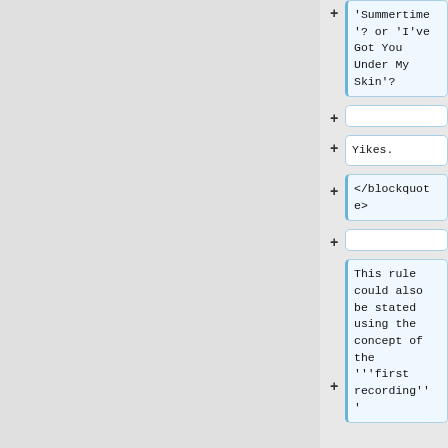'Summertime'? or 'I've Got You Under My Skin'?
Yikes.
</blockquote>
This rule could also be stated using the concept of the '''first recording'''